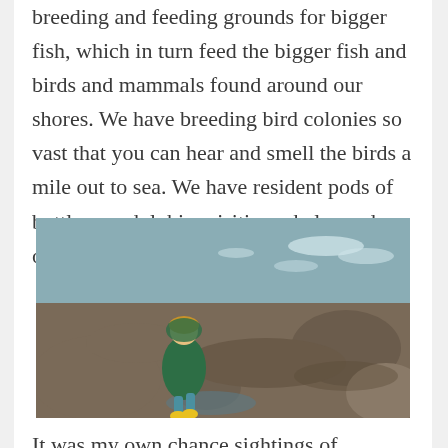breeding and feeding grounds for bigger fish, which in turn feed the bigger fish and birds and mammals found around our shores. We have breeding bird colonies so vast that you can hear and smell the birds a mile out to sea. We have resident pods of bottlenose dolphin, visiting whales and orca.
[Figure (photo): A child wearing a green coat and blue-and-yellow rain boots walks across rocks near the sea. Waves are visible in the background, with rocky coastline.]
It was my own chance sightings of dolphins